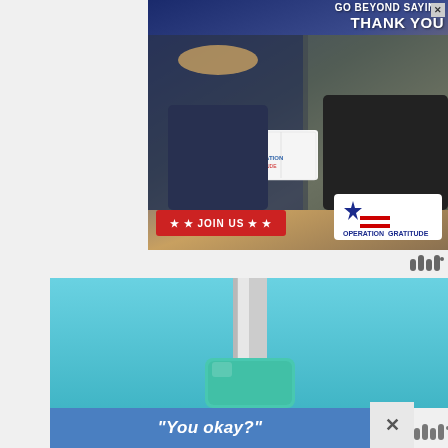[Figure (photo): Advertisement banner for Operation Gratitude showing a military service member and a civilian woman exchanging a care package. Text reads 'GO BEYOND SAYING THANK YOU' with a red 'JOIN US' button and the Operation Gratitude logo.]
GO BEYOND SAYING THANK YOU
[Figure (photo): Advertisement showing a teal/turquoise ring or wristband product on a blue background, with a blue banner at the bottom reading "You okay?"]
“You okay?”